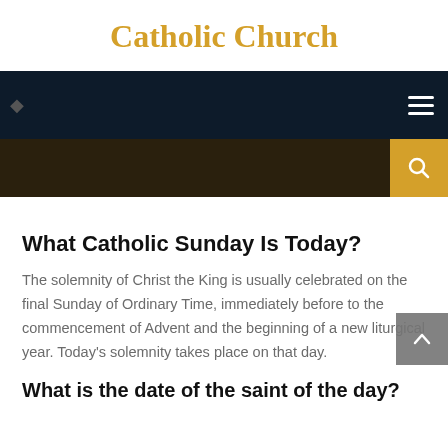Catholic Church
[Figure (screenshot): Dark navigation bar with hamburger menu icon on the right and a small icon on the left]
[Figure (screenshot): Dark brown search bar with an orange/gold search button on the right]
What Catholic Sunday Is Today?
The solemnity of Christ the King is usually celebrated on the final Sunday of Ordinary Time, immediately before to the commencement of Advent and the beginning of a new liturgical year. Today’s solemnity takes place on that day.
What is the date of the saint of the day?